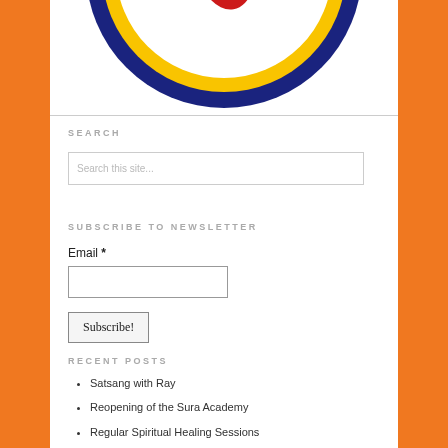[Figure (logo): Circular badge/seal with dark navy blue border, yellow inner ring, red flame motif in center, orange text reading 'ernal Light we serve in Love, W' around the ring]
SEARCH
Search this site...
SUBSCRIBE TO NEWSLETTER
Email *
Subscribe!
RECENT POSTS
Satsang with Ray
Reopening of the Sura Academy
Regular Spiritual Healing Sessions